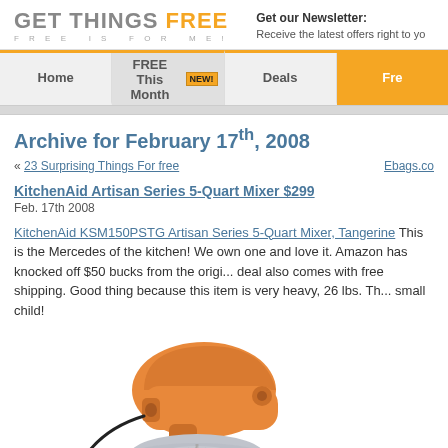GET THINGS FREE — FREE IS FOR ME!
Get our Newsletter: Receive the latest offers right to yo...
Home | FREE This Month NEW! | Deals | Fre...
Archive for February 17th, 2008
« 23 Surprising Things For free ... Ebags.co...
KitchenAid Artisan Series 5-Quart Mixer $299
Feb. 17th 2008
KitchenAid KSM150PSTG Artisan Series 5-Quart Mixer, Tangerine This is the Mercedes of the kitchen! We own one and love it. Amazon has knocked off $50 bucks from the origi... deal also comes with free shipping. Good thing because this item is very heavy, 26 lbs. Th... small child!
[Figure (photo): Orange KitchenAid Artisan Series 5-Quart stand mixer with a silver mixing bowl]